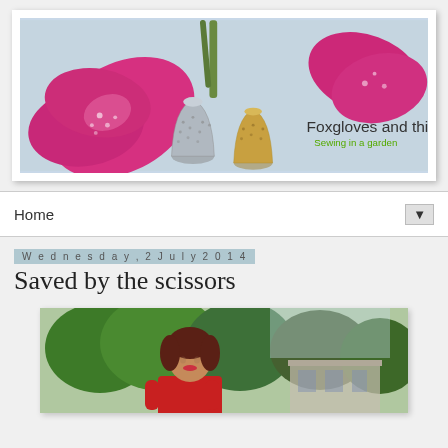[Figure (photo): Blog banner image showing foxglove flowers (pink) and silver/gold thimbles on a light blue/grey background, with text 'Foxgloves and thimbles' and subtitle 'Sewing in a garden']
Home ▼
Wednesday, 2 July 2014
Saved by the scissors
[Figure (photo): Photo of a woman with short dark hair wearing a red top, standing outdoors in a garden with green trees and a building visible in the background]